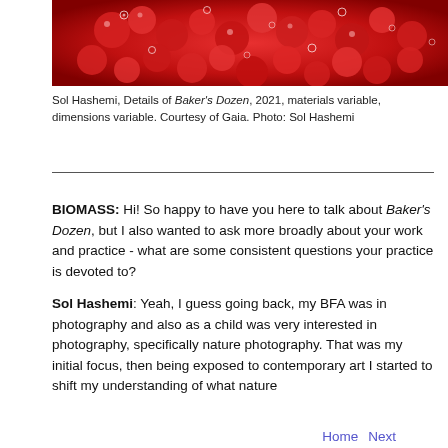[Figure (photo): Close-up photograph of red berries or cherries with water bubbles, vibrant red tones.]
Sol Hashemi, Details of Baker's Dozen, 2021, materials variable, dimensions variable. Courtesy of Gaia. Photo: Sol Hashemi
BIOMASS: Hi! So happy to have you here to talk about Baker's Dozen, but I also wanted to ask more broadly about your work and practice - what are some consistent questions your practice is devoted to?
Sol Hashemi: Yeah, I guess going back, my BFA was in photography and also as a child was very interested in photography, specifically nature photography. That was my initial focus, then being exposed to contemporary art I started to shift my understanding of what nature photography could be. And now I feel that I've come full
Home   Next